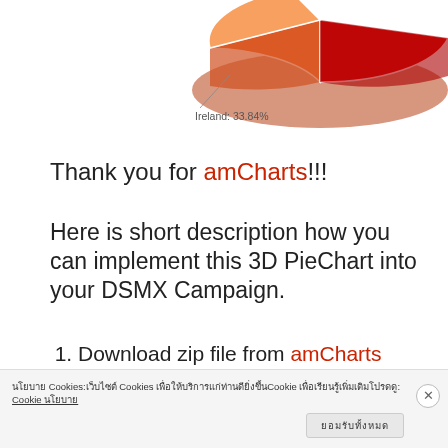[Figure (pie-chart): Partial 3D pie chart visible at top of page, showing orange and red slices. A label reads 'Ireland: 33.84%' pointing to one slice.]
Ireland: 33.84%
Thank you for amCharts!!!
Here is short description how you can implement this 3D PieChart into your DSMX Campaign.
Download zip file from amCharts website.
Create new page(You have to select “Pure HTML page”).
นโยบาย Cookies:เว็บไซต์ Cookies เพื่อให้บริการแก่ท่านดียิ่งขึ้นCookie เพื่อเรียนรู้เพิ่มเติมโปรดดู: Cookie นโยบาย